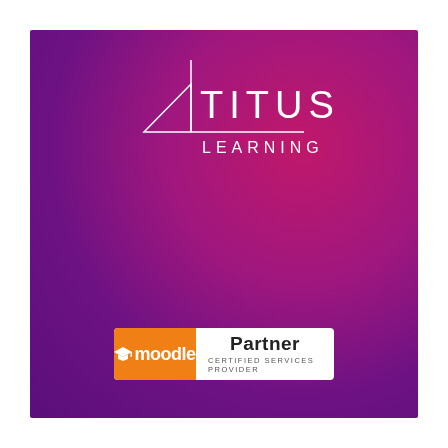[Figure (logo): Titus Learning logo — white geometric triangle/arrow shape with the text TITUS above a horizontal line and LEARNING below, on a magenta-purple gradient background]
[Figure (logo): Moodle Partner Certified Services Provider badge — orange left panel with 'moodle' text and graduation cap icon, white right panel with 'Partner' in bold and 'CERTIFIED SERVICES PROVIDER' in small caps below]